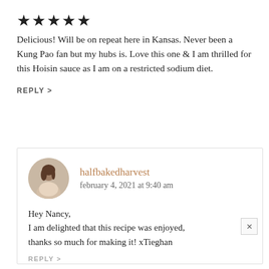[Figure (other): Five black star rating icons]
Delicious! Will be on repeat here in Kansas. Never been a Kung Pao fan but my hubs is. Love this one & I am thrilled for this Hoisin sauce as I am on a restricted sodium diet.
REPLY >
[Figure (photo): Circular avatar photo of halfbakedharvest author]
halfbakedharvest
february 4, 2021 at 9:40 am
Hey Nancy,
I am delighted that this recipe was enjoyed, thanks so much for making it! xTieghan
REPLY >